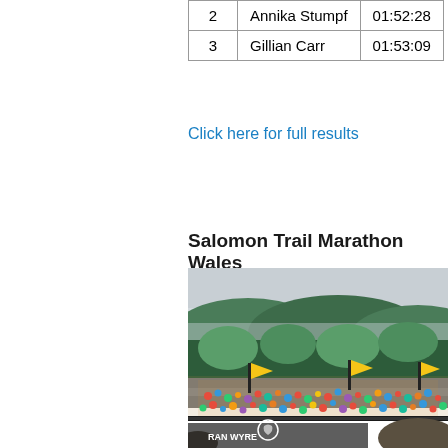|  | Name | Time |
| --- | --- | --- |
| 2 | Annika Stumpf | 01:52:28 |
| 3 | Gillian Carr | 01:53:09 |
Click here for full results
Salomon Trail Marathon Wales
[Figure (photo): Aerial view of a large crowd of runners gathered at the start/finish area of the Salomon Trail Marathon Wales, with misty forested hills in the background and race banners visible.]